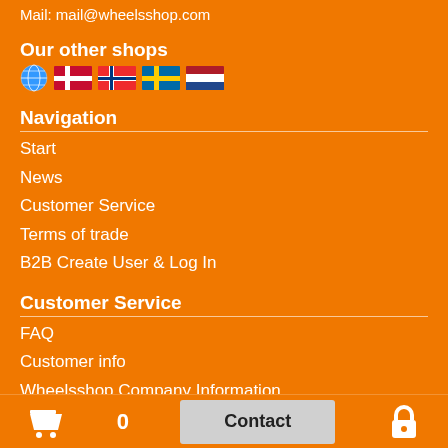Mail: mail@wheelsshop.com
Our other shops
[Figure (illustration): Globe icon and country flag icons: Denmark, Norway, Sweden, Netherlands]
Navigation
Start
News
Customer Service
Terms of trade
B2B Create User & Log In
Customer Service
FAQ
Customer info
Wheelsshop Company Information
Tire Information
Tire stic
Rims Inf
[Figure (infographic): Bottom bar with cart icon, number 0, Contact button, and lock icon]